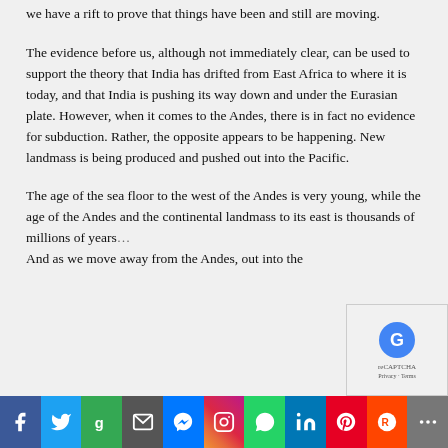we have a rift to prove that things have been and still are moving.
The evidence before us, although not immediately clear, can be used to support the theory that India has drifted from East Africa to where it is today, and that India is pushing its way down and under the Eurasian plate. However, when it comes to the Andes, there is in fact no evidence for subduction. Rather, the opposite appears to be happening. New landmass is being produced and pushed out into the Pacific.
The age of the sea floor to the west of the Andes is very young, while the age of the Andes and the continental landmass to its east is thousands of millions of years... And as we move away from the Andes, out into the...
Social sharing bar: Facebook, Twitter, Google+, Email, Messenger, Instagram, WhatsApp, LinkedIn, Pinterest, Reddit, More